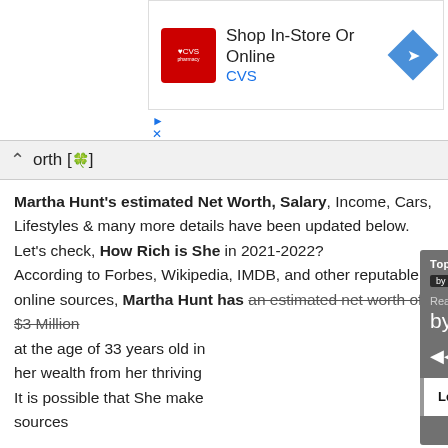[Figure (screenshot): CVS Pharmacy advertisement banner with 'Shop In-Store Or Online' text and CVS logo, with blue diamond arrow icon]
orth [🍃]
Martha Hunt's estimated Net Worth, Salary, Income, Cars, Lifestyles & many more details have been updated below. Let's check, How Rich is She in 2021-2022? According to Forbes, Wikipedia, IMDB, and other reputable online sources, Martha Hunt has an estimated net worth of $3 Million at the age of 33 years old in  her wealth from her thriving  It is possible that She make sources
[Figure (screenshot): Popup overlay widget showing 'Top Famous People by in4fp' and 'Realtor.com® by realtor.com' with media controls, Search Now button, Read More button, and link to 'Lee Asher - Bio, Age, Wiki, Facts and Family - in4fp.com']